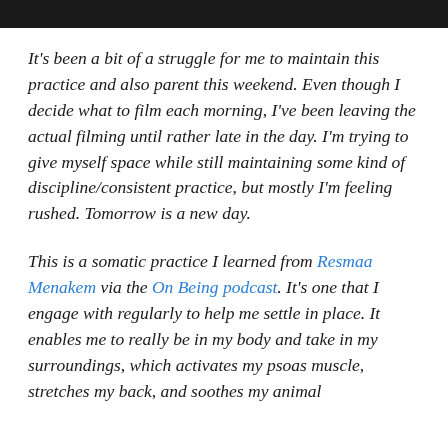It's been a bit of a struggle for me to maintain this practice and also parent this weekend. Even though I decide what to film each morning, I've been leaving the actual filming until rather late in the day. I'm trying to give myself space while still maintaining some kind of discipline/consistent practice, but mostly I'm feeling rushed. Tomorrow is a new day.
This is a somatic practice I learned from Resmaa Menakem via the On Being podcast. It's one that I engage with regularly to help me settle in place. It enables me to really be in my body and take in my surroundings, which activates my psoas muscle, stretches my back, and soothes my animal